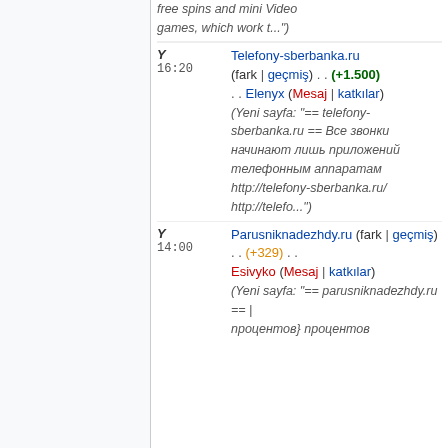free spins and mini Video games, which work t...)
Y 16:20 Telefony-sberbanka.ru (fark | geçmiş) . . (+1.500) . . Elenyx (Mesaj | katkılar) (Yeni sayfa: "== telefony-sberbanka.ru == Все звонки начинают лишь приложений телефонным аппаратам http://telefony-sberbanka.ru/ http://telefo...")
Y 14:00 Parusniknadezhdy.ru (fark | geçmiş) . . (+329) . . Esivyko (Mesaj | katkılar) (Yeni sayfa: "== parusniknadezhdy.ru == | процентов} процентов ...")